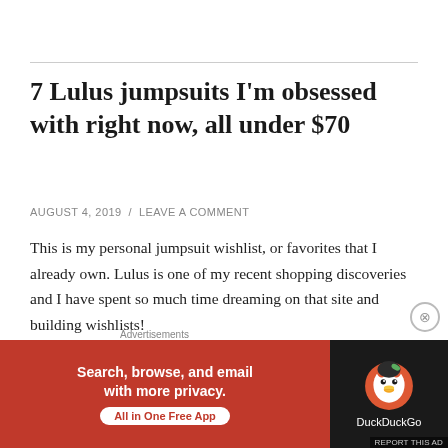7 Lulus jumpsuits I'm obsessed with right now, all under $70
AUGUST 4, 2019 / LEAVE A COMMENT
This is my personal jumpsuit wishlist, or favorites that I already own. Lulus is one of my recent shopping discoveries and I have spent so much time dreaming on that site and building wishlists!
Are you new to Lulus? Get $20 off your first order which
[Figure (screenshot): DuckDuckGo advertisement banner: red background with 'Search, browse, and email with more privacy. All in One Free App' and DuckDuckGo logo on dark background]